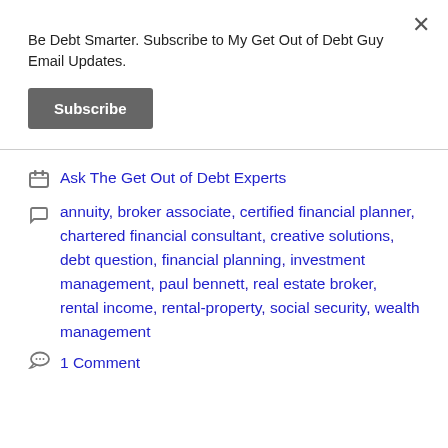Be Debt Smarter. Subscribe to My Get Out of Debt Guy Email Updates.
Subscribe
Ask The Get Out of Debt Experts
annuity, broker associate, certified financial planner, chartered financial consultant, creative solutions, debt question, financial planning, investment management, paul bennett, real estate broker, rental income, rental-property, social security, wealth management
1 Comment